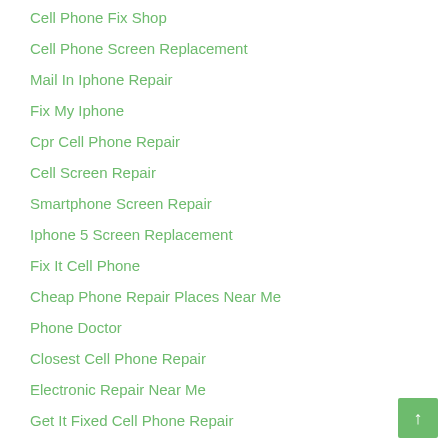Cell Phone Fix Shop
Cell Phone Screen Replacement
Mail In Iphone Repair
Fix My Iphone
Cpr Cell Phone Repair
Cell Screen Repair
Smartphone Screen Repair
Iphone 5 Screen Replacement
Fix It Cell Phone
Cheap Phone Repair Places Near Me
Phone Doctor
Closest Cell Phone Repair
Electronic Repair Near Me
Get It Fixed Cell Phone Repair